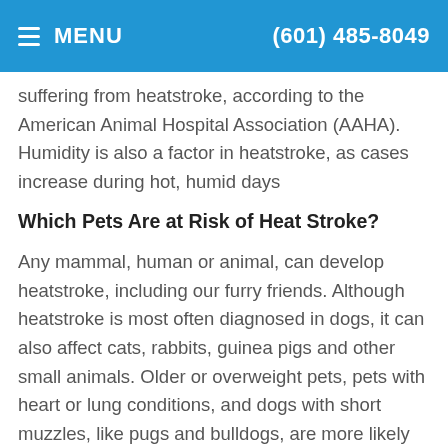MENU   (601) 485-8049
suffering from heatstroke, according to the American Animal Hospital Association (AAHA). Humidity is also a factor in heatstroke, as cases increase during hot, humid days
Which Pets Are at Risk of Heat Stroke?
Any mammal, human or animal, can develop heatstroke, including our furry friends. Although heatstroke is most often diagnosed in dogs, it can also affect cats, rabbits, guinea pigs and other small animals. Older or overweight pets, pets with heart or lung conditions, and dogs with short muzzles, like pugs and bulldogs, are more likely to develop heatstroke, according to the AAHA. Heatstroke can occur whether your pet is inside or outside